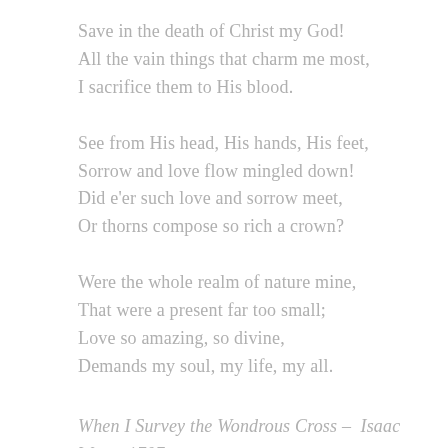Save in the death of Christ my God!
All the vain things that charm me most,
I sacrifice them to His blood.
See from His head, His hands, His feet,
Sorrow and love flow mingled down!
Did e'er such love and sorrow meet,
Or thorns compose so rich a crown?
Were the whole realm of nature mine,
That were a present far too small;
Love so amazing, so divine,
Demands my soul, my life, my all.
When I Survey the Wondrous Cross –  Isaac Watts, 1707